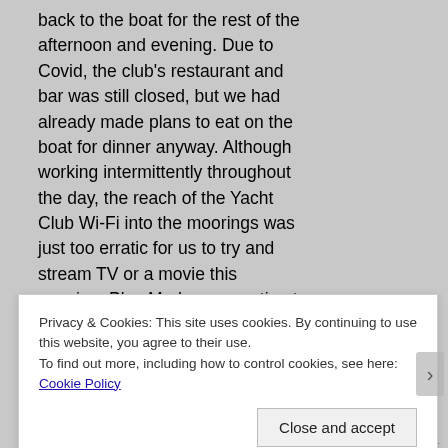back to the boat for the rest of the afternoon and evening. Due to Covid, the club's restaurant and bar was still closed, but we had already made plans to eat on the boat for dinner anyway. Although working intermittently throughout the day, the reach of the Yacht Club Wi-Fi into the moorings was just too erratic for us to try and stream TV or a movie this evening. Plus Mark was wanting to read his book instead, so that is how we both spent the rest of the evening.
Privacy & Cookies: This site uses cookies. By continuing to use this website, you agree to their use.
To find out more, including how to control cookies, see here: Cookie Policy
Close and accept